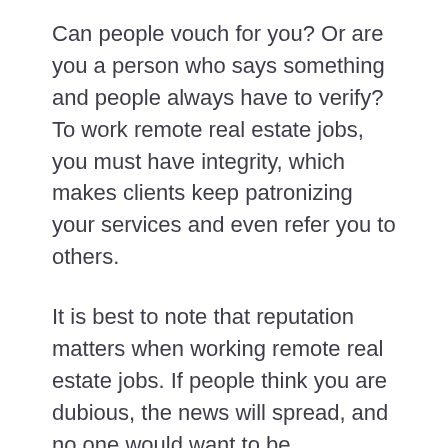Can people vouch for you? Or are you a person who says something and people always have to verify? To work remote real estate jobs, you must have integrity, which makes clients keep patronizing your services and even refer you to others.
It is best to note that reputation matters when working remote real estate jobs. If people think you are dubious, the news will spread, and no one would want to be associated with you. And it would adversely affect your company. Most times, you will even lose the job.
But, once clients perceive that you are honest, it helps to build your portfolio as they will always want to do business with you. You must understand that